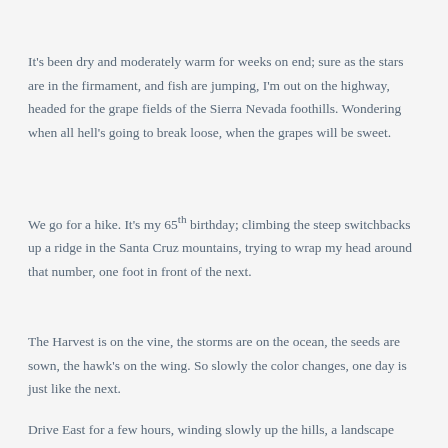It's been dry and moderately warm for weeks on end; sure as the stars are in the firmament, and fish are jumping, I'm out on the highway, headed for the grape fields of the Sierra Nevada foothills. Wondering when all hell's going to break loose, when the grapes will be sweet.
We go for a hike. It's my 65th birthday; climbing the steep switchbacks up a ridge in the Santa Cruz mountains, trying to wrap my head around that number, one foot in front of the next.
The Harvest is on the vine, the storms are on the ocean, the seeds are sown, the hawk's on the wing. So slowly the color changes, one day is just like the next.
Drive East for a few hours, winding slowly up the hills, a landscape burned into my synapses over 25 years. Dry, dusty, then, endless